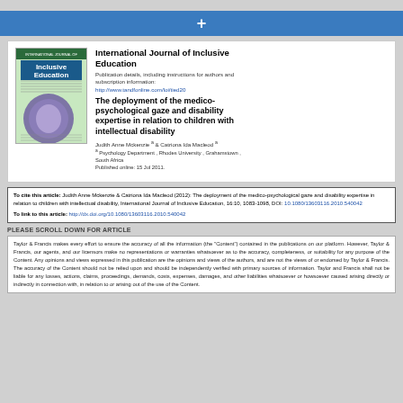[Figure (other): Blue bar with white plus sign button]
[Figure (illustration): Cover of International Journal of Inclusive Education journal showing green cover with purple circular image]
International Journal of Inclusive Education
Publication details, including instructions for authors and subscription information:
http://www.tandfonline.com/loi/tied20
The deployment of the medico-psychological gaze and disability expertise in relation to children with intellectual disability
Judith Anne Mckenzie a & Catriona Ida Macleod a
a Psychology Department , Rhodes University , Grahamstown , South Africa
Published online: 15 Jul 2011.
To cite this article: Judith Anne Mckenzie & Catriona Ida Macleod (2012): The deployment of the medico-psychological gaze and disability expertise in relation to children with intellectual disability, International Journal of Inclusive Education, 16:10, 1083-1098, DOI: 10.1080/13603116.2010.540042
To link to this article: http://dx.doi.org/10.1080/13603116.2010.540042
PLEASE SCROLL DOWN FOR ARTICLE
Taylor & Francis makes every effort to ensure the accuracy of all the information (the "Content") contained in the publications on our platform. However, Taylor & Francis, our agents, and our licensors make no representations or warranties whatsoever as to the accuracy, completeness, or suitability for any purpose of the Content. Any opinions and views expressed in this publication are the opinions and views of the authors, and are not the views of or endorsed by Taylor & Francis. The accuracy of the Content should not be relied upon and should be independently verified with primary sources of information. Taylor and Francis shall not be liable for any losses, actions, claims, proceedings, demands, costs, expenses, damages, and other liabilities whatsoever or howsoever caused arising directly or indirectly in connection with, in relation to or arising out of the use of the Content.